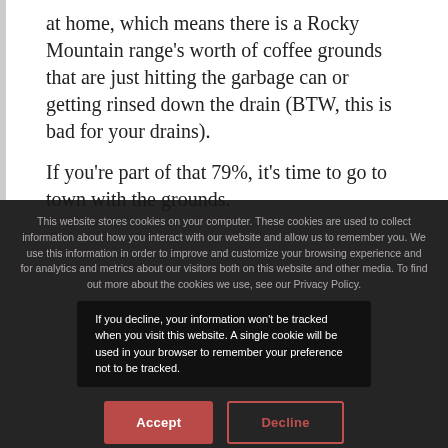at home, which means there is a Rocky Mountain range's worth of coffee grounds that are just hitting the garbage can or getting rinsed down the drain (BTW, this is bad for your drains).
If you're part of that 79%, it's time to go to town with the grounds.
This website stores cookies on your computer. These cookies are used to collect information about how you interact with our website and allow us to remember you. We use this information in order to improve and customize your browsing experience and for analytics and metrics about our visitors both on this website and other media. To find out more about the cookies we use, see our Privacy Policy.
If you decline, your information won't be tracked when you visit this website. A single cookie will be used in your browser to remember your preference not to be tracked.
Accept
Decline